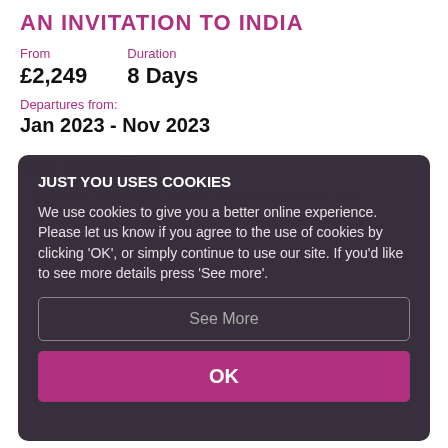AN INVITATION TO INDIA
From £2,249   Duration 8 Days
Departures from: Jan 2023 - Nov 2023
JUST YOU USES COOKIES
We use cookies to give you a better online experience. Please let us know if you agree to the use of cookies by clicking 'OK', or simply continue to use our site. If you'd like to see more details press 'See more'.
See More
OK
our Overview
Experience the history, culture and charm of India on a journey around the 'Golden Triangle' cities of Delhi, Agra